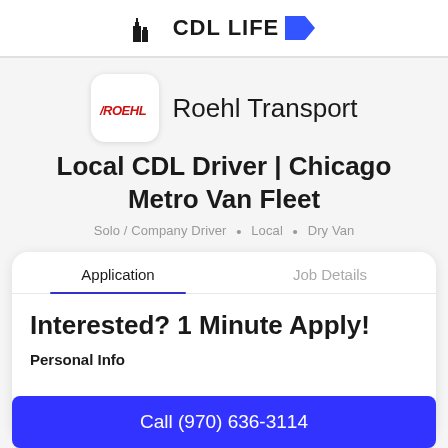CDL LIFE
[Figure (logo): Roehl Transport company logo — red italic ROEHL text on white rounded square background]
Roehl Transport
Local CDL Driver | Chicago Metro Van Fleet
Solo / Company Driver • Local • Dry Van
Application	Job Details
Interested? 1 Minute Apply!
Personal Info
Call (970) 636-3114